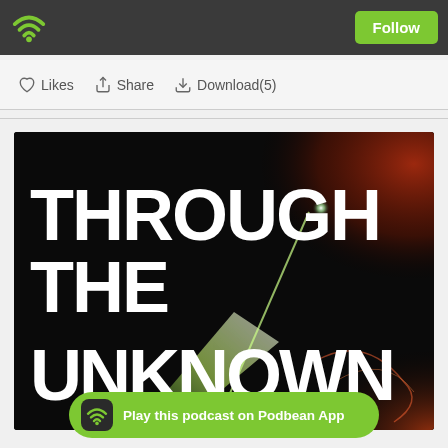Podbean header with wifi logo and Follow button
Likes  Share  Download(5)
[Figure (illustration): Podcast cover art for 'Through The Unknown' showing bold white text on a dark cosmic background with green light beam and red nebula effects]
Play this podcast on Podbean App